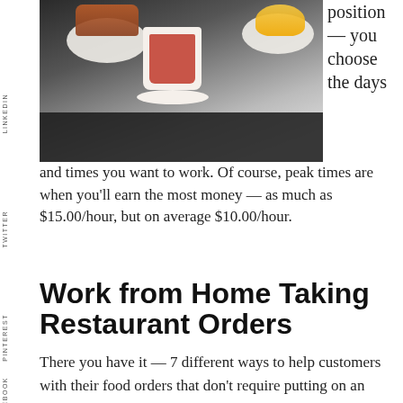[Figure (photo): Overhead view of a tea cup, plates with food and fruit on a dark table surface]
position — you choose the days and times you want to work. Of course, peak times are when you'll earn the most money — as much as $15.00/hour, but on average $10.00/hour.
Work from Home Taking Restaurant Orders
There you have it — 7 different ways to help customers with their food orders that don't require putting on an apron. With the popularity of these sites and apps, we'll probably see even